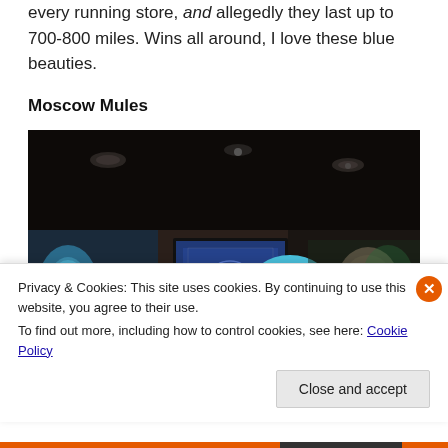every running store, and allegedly they last up to 700-800 miles. Wins all around, I love these blue beauties.
Moscow Mules
[Figure (photo): Dark interior bar scene with colorful wall art on the left, a TV screen showing sports, and people visible including someone with a blue hat/head covering in the foreground-right.]
Privacy & Cookies: This site uses cookies. By continuing to use this website, you agree to their use.
To find out more, including how to control cookies, see here: Cookie Policy
Close and accept